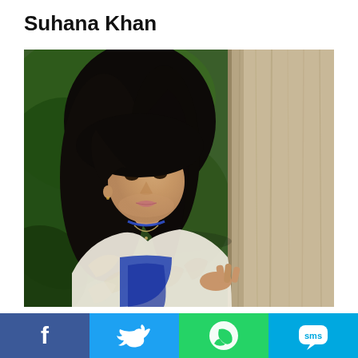Suhana Khan
[Figure (photo): Photo of Suhana Khan, a young woman with long black hair wearing a white lace outfit with blue details, leaning against a wooden wall/pillar with green foliage in the background]
[Figure (infographic): Social sharing bar with four buttons: Facebook (blue), Twitter (light blue), WhatsApp (green), SMS (cyan/blue)]